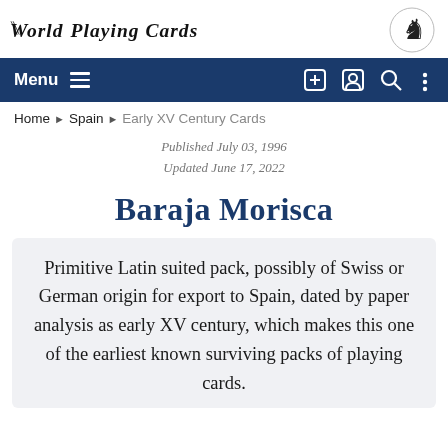World Playing Cards
Menu
Home › Spain › Early XV Century Cards
Published July 03, 1996
Updated June 17, 2022
Baraja Morisca
Primitive Latin suited pack, possibly of Swiss or German origin for export to Spain, dated by paper analysis as early XV century, which makes this one of the earliest known surviving packs of playing cards.